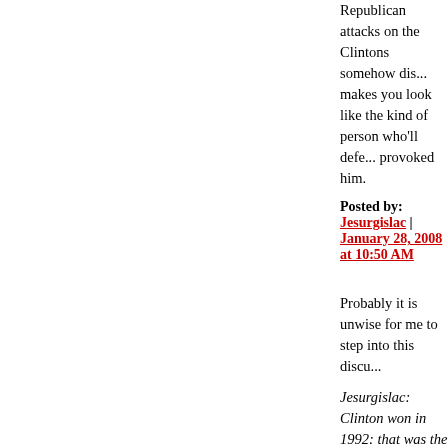Republican attacks on the Clintons somehow di... makes you look like the kind of person who'll defe... provoked him.
Posted by: Jesurgislac | January 28, 2008 at 10:50 AM
Probably it is unwise for me to step into this discu...
Jesurgislac: Clinton won in 1992: that was the firs... needed to commit to have Republicans loathe him...
I agree, though there were those who loathed him... they saw it coming.
Xeynon: There was a lynch mob out to get him - b... rope, he as much as tied the noose before he did...
I agree, and this is what I can't forgive Bill Clinton... have been.
Of course, when comparing the lost opportunities... Bush presidencies, there's no contest -- George W... squanderer, Bill Clinton is not in the same league...
But why are we even talking about Bill Clinton? [l... ... well, see Paul Krugman today.]